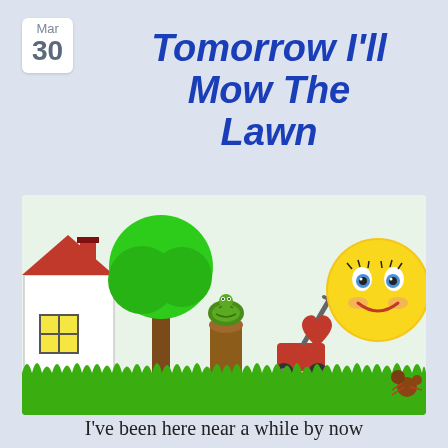Mar
30
Tomorrow I'll Mow The Lawn
[Figure (illustration): Humorous cartoon illustration showing a house with a red roof, a green tree, a turtle sitting on a tree stump, a red lawn mower with a gray handle in tall green grass, a yellow emoji face holding a red heart, and a small ant/bug in the lower right. The scene humorously depicts a lawn that needs mowing.]
I've been here near a while by now